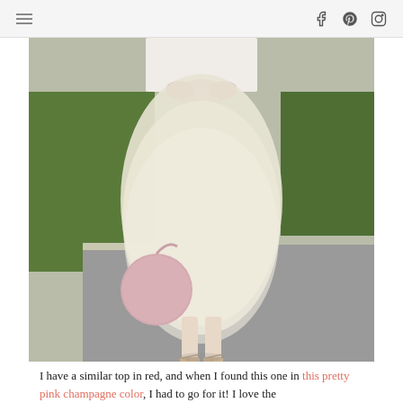navigation bar with menu icon and social icons (Facebook, Pinterest, Instagram)
[Figure (photo): Fashion blog photo of a woman wearing a cream/champagne tulle midi skirt, a light pink top with a large bow, holding a round pink handbag, wearing nude strappy heeled sandals, standing on a sidewalk with green grass in background.]
I have a similar top in red, and when I found this one in this pretty pink champagne color, I had to go for it! I love the